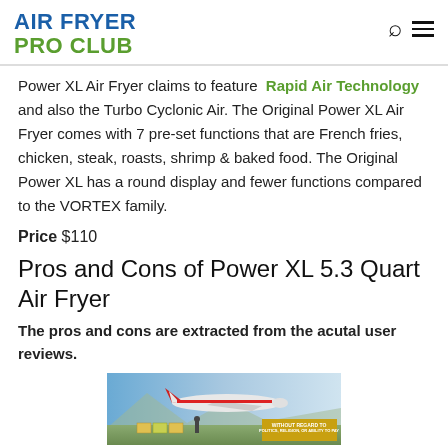AIR FRYER PRO CLUB
Power XL Air Fryer claims to feature Rapid Air Technology and also the Turbo Cyclonic Air. The Original Power XL Air Fryer comes with 7 pre-set functions that are French fries, chicken, steak, roasts, shrimp & baked food. The Original Power XL has a round display and fewer functions compared to the VORTEX family.
Price $110
Pros and Cons of Power XL 5.3 Quart Air Fryer
The pros and cons are extracted from the acutal user reviews.
[Figure (photo): Advertisement banner showing an airplane with cargo loading, with overlay text 'WITHOUT REGARD TO POLITICS, RELIGION, OR ABILITY TO PAY']